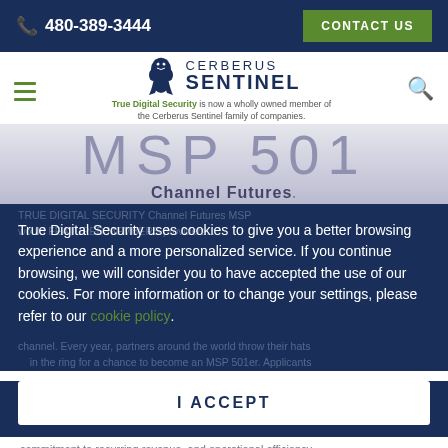📞 480-389-3444   CONTACT US
[Figure (logo): Cerberus Sentinel logo with lion/griffin icon, text 'CERBERUS SENTINEL', tagline 'True Digital Security is now a wholly owned member of the Cerberus Sentinel family of companies.']
[Figure (illustration): MSP 501 Channel Futures banner with large light purple text 'MSP 501' and bold 'Channel Futures' below]
True Digital Security uses cookies to give you a better browsing experience and a more personalized service. If you continue browsing, we will consider you to have accepted the use of our cookies. For more information or to change your settings, please refer to our cookie policy.
I ACCEPT
commitment to recurring revenue, and operational efficiency